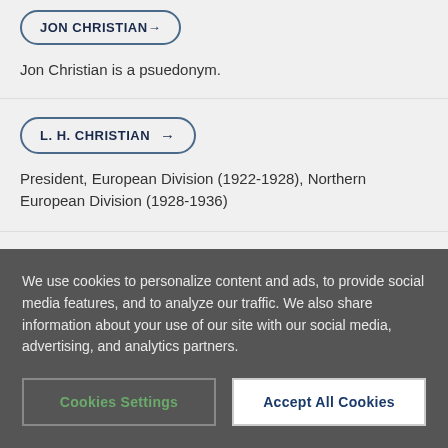Jon Christian is a psuedonym.
L. H. CHRISTIAN →
President, European Division (1922-1928), Northern European Division (1928-1936)
R. J. CHRISTIAN →
We use cookies to personalize content and ads, to provide social media features, and to analyze our traffic. We also share information about your use of our site with our social media, advertising, and analytics partners.
Cookies Settings
Accept All Cookies